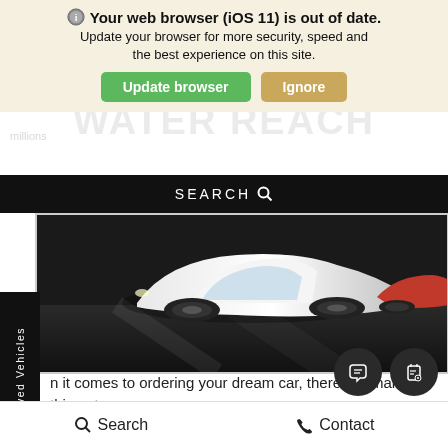Your web browser (iOS 11) is out of date. Update your browser for more security, speed and the best experience on this site.
[Figure (screenshot): Browser update warning bar with 'Update browser' green button and 'Ignore' tan button]
[Figure (photo): Cars parked in a showroom on a dark reflective floor, seen from the front/side, partial view]
n it comes to ordering your dream car, there are many things to der.
What color do you want?
What size?
What type of engine?
But one of the most important decisions is what kind  and p
Search    Contact